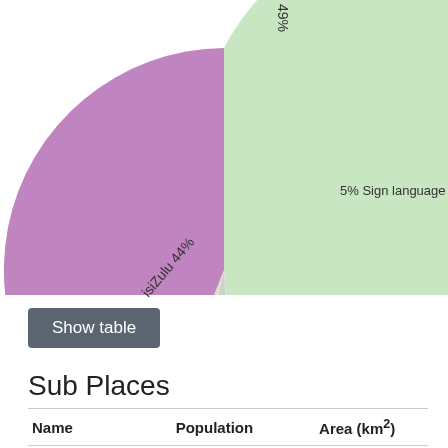[Figure (pie-chart): Language distribution pie chart (partial view)]
Show table
Sub Places
| Name | Population | Area (km²) |
| --- | --- | --- |
| Goxe SP | 624 | 1.05 |